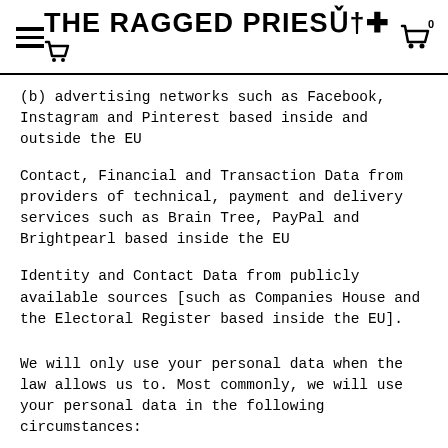THE RAGGED PRIEST
(b) advertising networks such as Facebook, Instagram and Pinterest based inside and outside the EU
Contact, Financial and Transaction Data from providers of technical, payment and delivery services such as Brain Tree, PayPal and Brightpearl based inside the EU
Identity and Contact Data from publicly available sources [such as Companies House and the Electoral Register based inside the EU].
We will only use your personal data when the law allows us to. Most commonly, we will use your personal data in the following circumstances:
Where we need to perform the contract we are about to enter into or have entered into with you.